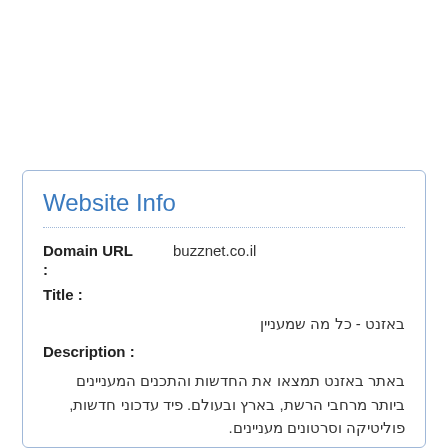Website Info
Domain URL : buzznet.co.il
Title :
באזנט - כל מה שמעניין
Description :
באתר באזנט תמצאו את החדשות והתכנים המעניינים ביותר מרחבי הרשת, בארץ ובעולם. פיד עדכוני חדשות, פוליטיקה וסרטונים מעניינים.
Keywords :